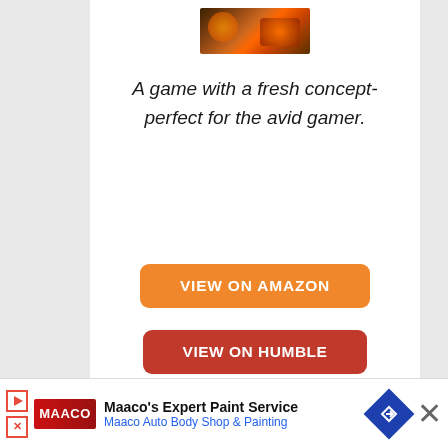[Figure (photo): Game cover art or character image, partially visible at top of white card]
A game with a fresh concept- perfect for the avid gamer.
VIEW ON AMAZON
VIEW ON HUMBLE
Live. Die. Repeat. The cycle continues on and on in Arkane Studio's Deathloop, the successful merger of the hitman genre and the plot of the
[Figure (other): Advertisement banner: Maaco's Expert Paint Service - Maaco Auto Body Shop & Painting]